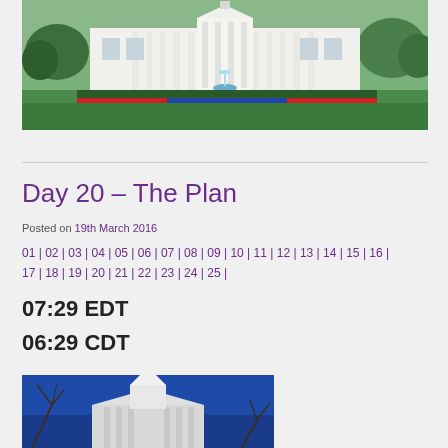[Figure (photo): White House exterior photo with fountain and colorful flower beds in front, green trees on either side]
Day 20 – The Plan
Posted on 19th March 2016
01 | 02 | 03 | 04 | 05 | 06 | 07 | 08 | 09 | 10 | 11 | 12 | 13 | 14 | 15 | 16 | 17 | 18 | 19 | 20 | 21 | 22 | 23 | 24 | 25 |
07:29 EDT
06:29 CDT
[Figure (photo): Church or government building with white steeple/cupola against a deep blue sky with bare tree branches visible]